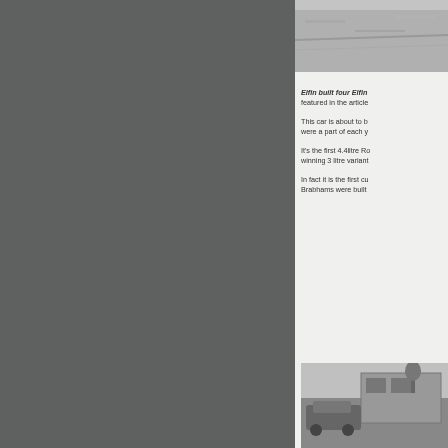[Figure (photo): Partial black and white photo visible at top right, appears to show a road or surface]
Elfin built four Elfin featured in the article
This car is about to b were a part of each y
It's the first 4.4litre Ro winning 3 litre variant
In fact it is the first cu Brabhams were built
[Figure (photo): Black and white photograph showing what appears to be a car or vehicle near a building]